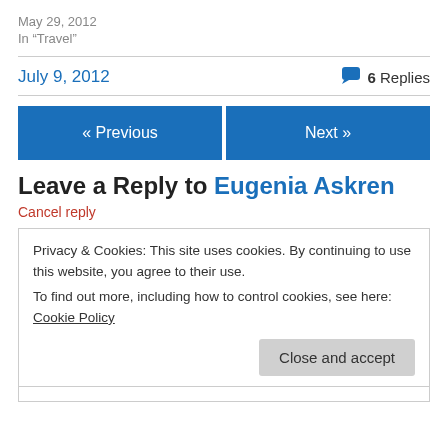May 29, 2012
In “Travel”
July 9, 2012   6 Replies
« Previous
Next »
Leave a Reply to Eugenia Askren
Cancel reply
Privacy & Cookies: This site uses cookies. By continuing to use this website, you agree to their use.
To find out more, including how to control cookies, see here: Cookie Policy
Close and accept